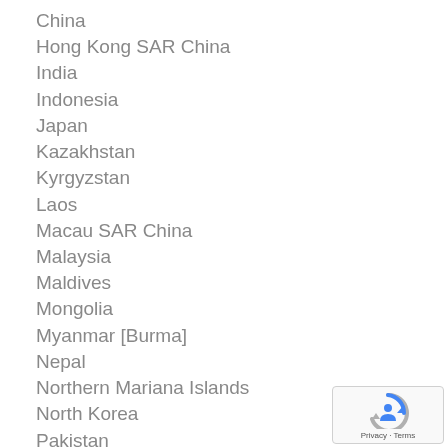China
Hong Kong SAR China
India
Indonesia
Japan
Kazakhstan
Kyrgyzstan
Laos
Macau SAR China
Malaysia
Maldives
Mongolia
Myanmar [Burma]
Nepal
Northern Mariana Islands
North Korea
Pakistan
Philippines
[Figure (logo): reCAPTCHA badge with Privacy and Terms links]